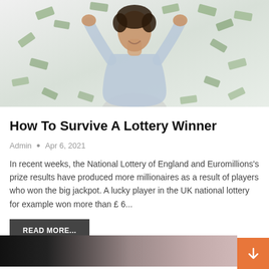[Figure (photo): Man celebrating with fists raised, surrounded by flying dollar bills on white background]
How To Survive A Lottery Winner
Admin • Apr 6, 2021
In recent weeks, the National Lottery of England and Euromillions's prize results have produced more millionaires as a result of players who won the big jackpot. A lucky player in the UK national lottery for example won more than £ 6...
READ MORE...
[Figure (photo): Partially visible second article image, dark and blurred]